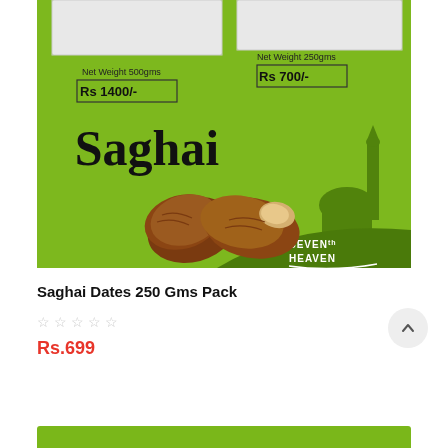[Figure (photo): Product photo of Saghai Dates boxes on green background. Two white boxes are shown - one 500gms priced Rs 1400/- and one 250gms priced Rs 700/-. The boxes display 'Saghai' in large text. Fresh dates fruit is shown in the foreground. Bottom right shows 'SEVENTH HEAVEN' brand logo with mosque silhouette.]
Saghai Dates 250 Gms Pack
☆ ☆ ☆ ☆ ☆
Rs.699